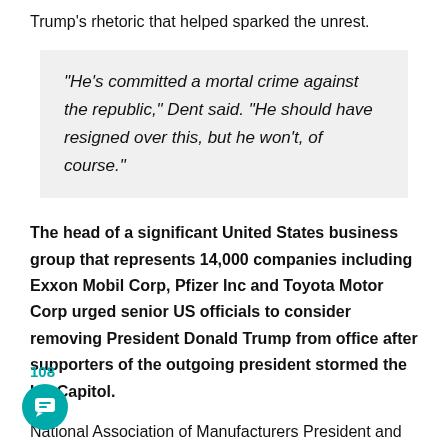Trump's rhetoric that helped sparked the unrest.
“He’s committed a mortal crime against the republic,” Dent said. “He should have resigned over this, but he won’t, of course.”
The head of a significant United States business group that represents 14,000 companies including Exxon Mobil Corp, Pfizer Inc and Toyota Motor Corp urged senior US officials to consider removing President Donald Trump from office after supporters of the outgoing president stormed the US Capitol.
National Association of Manufacturers President and CEO Jay Timmons said Trump “incited violence in an attempt to retain power, and any elected leader defending him is violating their oath to the Constitution and rejecting democracy in favour of anarchy... Vice President [Mike] Pence, who was evacuated